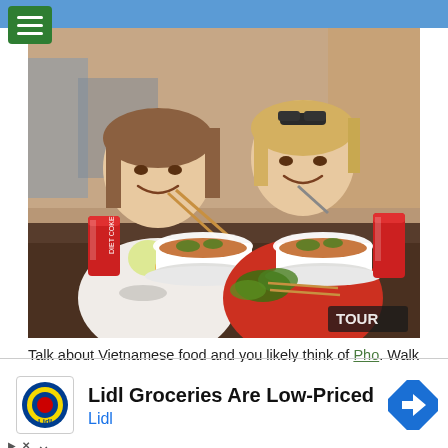[Figure (photo): Two women smiling and eating pho (Vietnamese noodle soup) with chopsticks at a restaurant counter, with bowls of soup, chopsticks, herb garnishes, and red soda cans in front of them. A busy restaurant background is visible. A 'TOUR' watermark is in the lower right corner.]
Talk about Vietnamese food and you likely think of Pho. Walk through any city in Vietnam, and you're likely to hear the slurp of hungry patrons as they eat the fresh rice noodles, savory broth, herbs, and topped either or chicken.
[Figure (infographic): Advertisement for Lidl Groceries showing Lidl logo, text 'Lidl Groceries Are Low-Priced', subtext 'Lidl', and a blue navigation arrow icon on the right.]